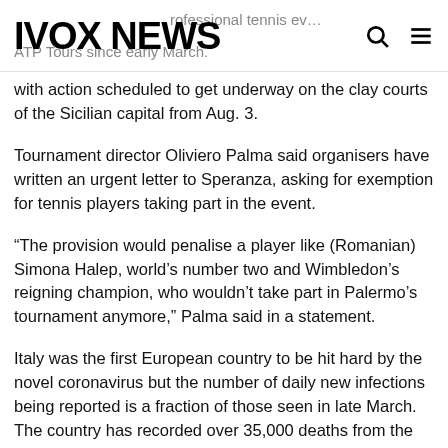IVOX NEWS
...professional tennis ev... ATP Tours since early March, with action scheduled to get underway on the clay courts of the Sicilian capital from Aug. 3.
Tournament director Oliviero Palma said organisers have written an urgent letter to Speranza, asking for exemption for tennis players taking part in the event.
“The provision would penalise a player like (Romanian) Simona Halep, world’s number two and Wimbledon’s reigning champion, who wouldn’t take part in Palermo’s tournament anymore,” Palma said in a statement.
Italy was the first European country to be hit hard by the novel coronavirus but the number of daily new infections being reported is a fraction of those seen in late March. The country has recorded over 35,000 deaths from the...